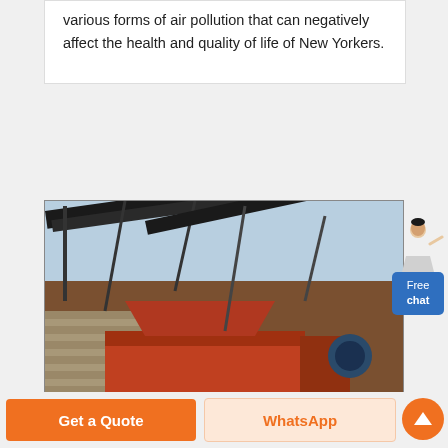various forms of air pollution that can negatively affect the health and quality of life of New Yorkers.
[Figure (photo): Industrial mining or crushing machinery (orange/red heavy equipment with conveyor belts and structural steel frames) at an outdoor site. A worker is visible at the base. Yellow 'CN' logo text is visible at the bottom center of the image.]
Free chat
Get a Quote
WhatsApp